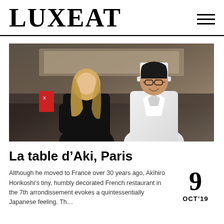LUXEAT
[Figure (photo): A woman with long blonde hair wearing a black outfit stands next to a smiling Japanese man in a white chef uniform and white chef hat, photographed in a kitchen setting.]
La table d’Aki, Paris
Although he moved to France over 30 years ago, Akihiro Horikoshi’s tiny, humbly decorated French restaurant in the 7th arrondissement evokes a quintessentially Japanese feeling. Th…
9 OCT’19